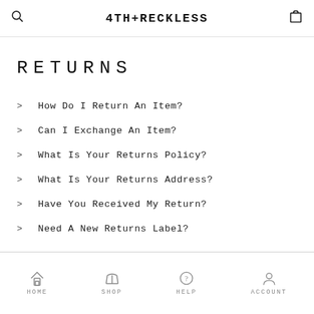4TH+RECKLESS
RETURNS
> How Do I Return An Item?
> Can I Exchange An Item?
> What Is Your Returns Policy?
> What Is Your Returns Address?
> Have You Received My Return?
> Need A New Returns Label?
HOME  SHOP  HELP  ACCOUNT